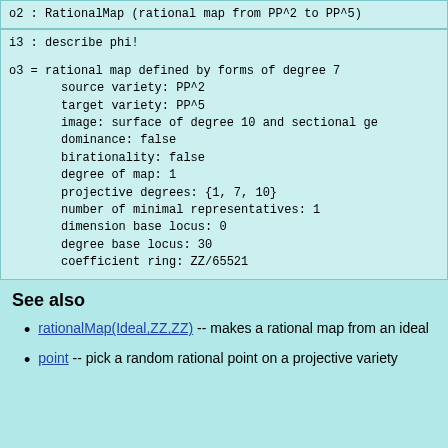o2 : RationalMap (rational map from PP^2 to PP^5)
i3 : describe phi!

o3 = rational map defined by forms of degree 7
     source variety: PP^2
     target variety: PP^5
     image: surface of degree 10 and sectional ge
     dominance: false
     birationality: false
     degree of map: 1
     projective degrees: {1, 7, 10}
     number of minimal representatives: 1
     dimension base locus: 0
     degree base locus: 30
     coefficient ring: ZZ/65521
See also
rationalMap(Ideal,ZZ,ZZ) -- makes a rational map from an ideal
point -- pick a random rational point on a projective variety